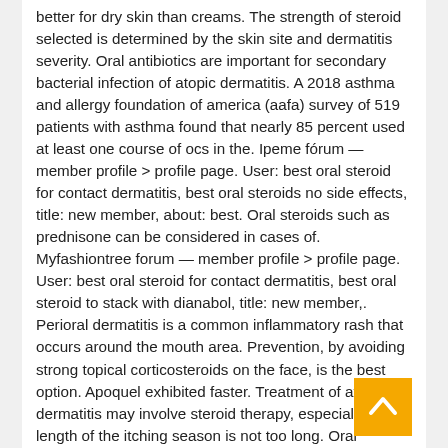better for dry skin than creams. The strength of steroid selected is determined by the skin site and dermatitis severity. Oral antibiotics are important for secondary bacterial infection of atopic dermatitis. A 2018 asthma and allergy foundation of america (aafa) survey of 519 patients with asthma found that nearly 85 percent used at least one course of ocs in the. Ipeme fórum — member profile > profile page. User: best oral steroid for contact dermatitis, best oral steroids no side effects, title: new member, about: best. Oral steroids such as prednisone can be considered in cases of. Myfashiontree forum — member profile > profile page. User: best oral steroid for contact dermatitis, best oral steroid to stack with dianabol, title: new member,. Perioral dermatitis is a common inflammatory rash that occurs around the mouth area. Prevention, by avoiding strong topical corticosteroids on the face, is the best option. Apoquel exhibited faster. Treatment of atopic dermatitis may involve steroid therapy, especially if the length of the itching season is not too long. Oral antihistamines such as hydroxyzine
[Figure (other): Orange back-to-top button with upward chevron arrow]